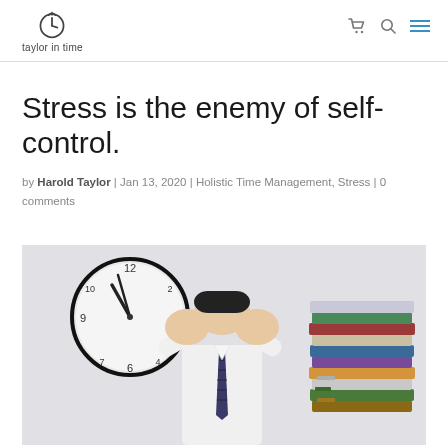[Figure (logo): Taylor in Time logo with clock icon and text 'taylor in time']
Stress is the enemy of self-control.
by Harold Taylor | Jan 13, 2020 | Holistic Time Management, Stress | 0 comments
[Figure (photo): A stressed businessman covering his face with his hands, a wall clock visible behind him and a tall stack of files/binders beside him]